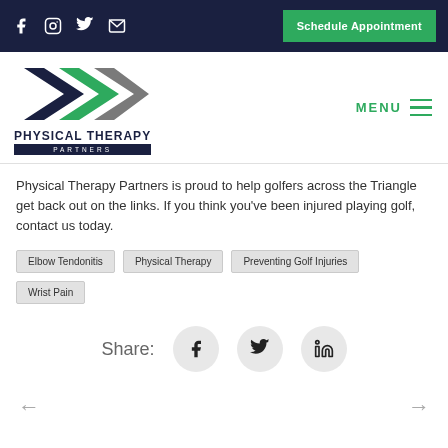Physical Therapy Partners – Schedule Appointment
[Figure (logo): Physical Therapy Partners logo with navy and green arrow shapes]
Physical Therapy Partners is proud to help golfers across the Triangle get back out on the links. If you think you've been injured playing golf, contact us today.
Elbow Tendonitis
Physical Therapy
Preventing Golf Injuries
Wrist Pain
Share: